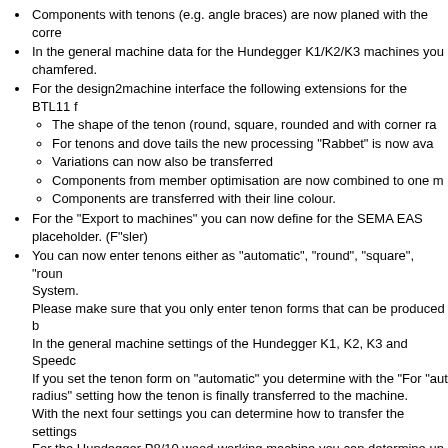Components with tenons (e.g. angle braces) are now planed with the corre
In the general machine data for the Hundegger K1/K2/K3 machines you chamfered.
For the design2machine interface the following extensions for the BTL11 f
The shape of the tenon (round, square, rounded and with corner ra
For tenons and dove tails the new processing "Rabbet" is now ava
Variations can now also be transferred
Components from member optimisation are now combined to one m
Components are transferred with their line colour.
For the "Export to machines" you can now define for the SEMA EAS placeholder. (F"sler)
You can now enter tenons either as "automatic", "round", "square", "roun System.
Please make sure that you only enter tenon forms that can be produced b
In the general machine settings of the Hundegger K1, K2, K3 and Speedc
If you set the tenon form on "automatic" you determine with the "For "aut radius" setting how the tenon is finally transferred to the machine.
With the next four settings you can determine how to transfer the settings
For the Hundegger P8/10 wood-working machine you can determine un program treats the different tenon forms (round, rounded and with corner r
You can also influence the form of tenons in a similar way for the export t BTL format you use.
Please note: If you don't know beforehand what kind of machine will be u the tenon in the SEMA program. <Highlight Film Rabbet: Tenon and Do
For the new end type "Tenon with rabbet" you can determine under the under "05 Tenons" if the rabbet is transferred or not. (Eling, Sauter, USA, P
The same goes for the new end type "Dovetail with rabbet" " also here yo K1, K2, K3 and Speedcut under "17 Dovetail" if you want to transfer th Weinmann)
To communicate with the Hundegger PBA machine, the new interface fo "Hundegger" -> "Hundegger PBA" you can start the export.
Under "Export to machine" the "SEMA EAS" option was changed into "CM